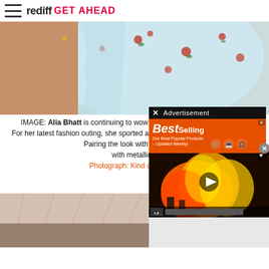rediff GET AHEAD
[Figure (photo): Partial view of a person wearing a white floral saree, cropped from shoulders/neck area]
IMAGE: Alia Bhatt is continuing to wow all with her love for white saris.
For her latest fashion outing, she sported a white sari with lovely floral motifs.
Pairing the look with a strappy... with metallic...
Photograph: Kind courtes...
[Figure (screenshot): Advertisement overlay: black bar with X button and 'Advertisement' label, orange BestSelling banner ad below]
[Figure (photo): Bottom left partial interior photo showing ceiling with lights]
[Figure (screenshot): Video overlay showing news footage of fire/flames with play button and LA news chyron bar]